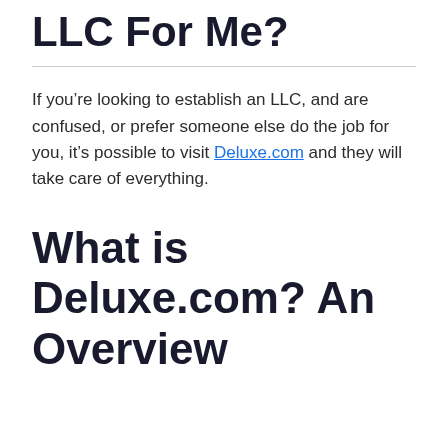Can Someone File an LLC For Me?
If you're looking to establish an LLC, and are confused, or prefer someone else do the job for you, it's possible to visit Deluxe.com and they will take care of everything.
What is Deluxe.com? An Overview